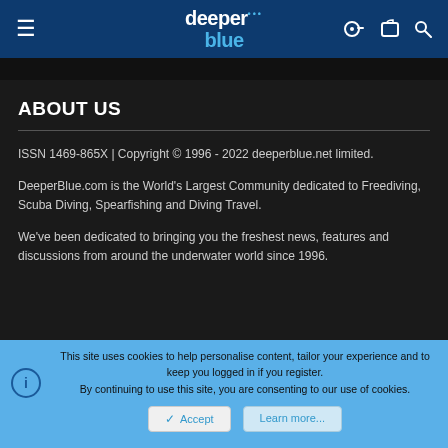deeper blue — navigation bar with hamburger menu, logo, key/clipboard/search icons
ABOUT US
ISSN 1469-865X | Copyright © 1996 - 2022 deeperblue.net limited.
DeeperBlue.com is the World's Largest Community dedicated to Freediving, Scuba Diving, Spearfishing and Diving Travel.
We've been dedicated to bringing you the freshest news, features and discussions from around the underwater world since 1996.
This site uses cookies to help personalise content, tailor your experience and to keep you logged in if you register.
By continuing to use this site, you are consenting to our use of cookies.